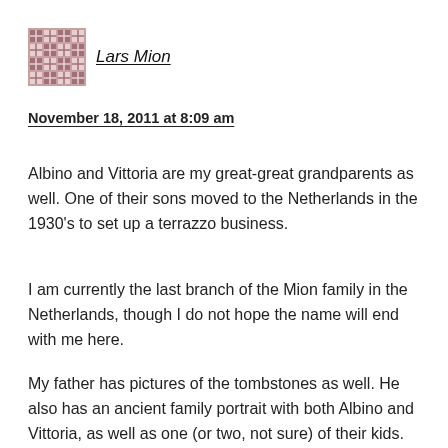[Figure (illustration): Avatar/profile image: a patterned square icon with pink/mauve geometric cross-hatch pattern]
Lars Mion
November 18, 2011 at 8:09 am
Albino and Vittoria are my great-great grandparents as well. One of their sons moved to the Netherlands in the 1930’s to set up a terrazzo business.
I am currently the last branch of the Mion family in the Netherlands, though I do not hope the name will end with me here.
My father has pictures of the tombstones as well. He also has an ancient family portrait with both Albino and Vittoria, as well as one (or two, not sure) of their kids. Let me know if you are interested in a copy of the pictures.